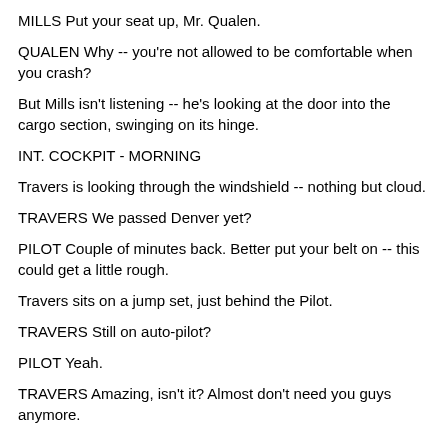MILLS Put your seat up, Mr. Qualen.
QUALEN Why -- you're not allowed to be comfortable when you crash?
But Mills isn't listening -- he's looking at the door into the cargo section, swinging on its hinge.
INT. COCKPIT - MORNING
Travers is looking through the windshield -- nothing but cloud.
TRAVERS We passed Denver yet?
PILOT Couple of minutes back. Better put your belt on -- this could get a little rough.
Travers sits on a jump set, just behind the Pilot.
TRAVERS Still on auto-pilot?
PILOT Yeah.
TRAVERS Amazing, isn't it? Almost don't need you guys anymore.